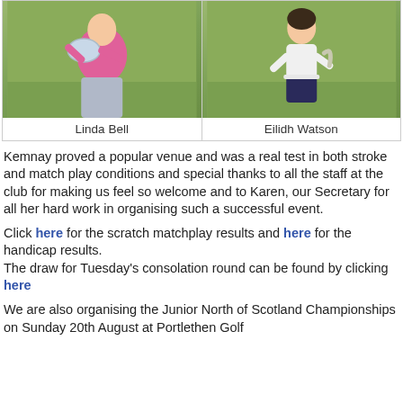[Figure (photo): Two photos side by side in a bordered box. Left photo: Linda Bell holding a silver salver trophy, standing on a golf course. Right photo: Eilidh Watson standing on a golf course.]
Linda Bell
Eilidh Watson
Kemnay proved a popular venue and was a real test in both stroke and match play conditions and special thanks to all the staff at the club for making us feel so welcome and to Karen, our Secretary for all her hard work in organising such a successful event.
Click here for the scratch matchplay results and here for the handicap results.
The draw for Tuesday's consolation round can be found by clicking here
We are also organising the Junior North of Scotland Championships on Sunday 20th August at Portlethen Golf